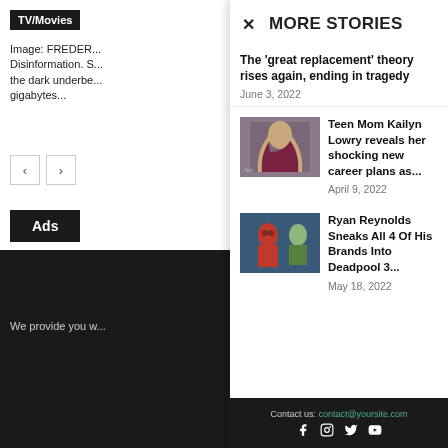TV/Movies
Image: FREDER... Disinformation. S... the dark underbe... gigabytes...
Ads
We provide you w...
MORE STORIES
The ‘great replacement’ theory rises again, ending in tragedy
June 3, 2022
[Figure (photo): Woman with long hair wearing a maroon hoodie]
Teen Mom Kailyn Lowry reveals her shocking new career plans as...
April 9, 2022
[Figure (photo): Ryan Reynolds in Deadpool costume with another person]
Ryan Reynolds Sneaks All 4 Of His Brands Into Deadpool 3...
May 18, 2022
Contact us: contact@yoursite.com